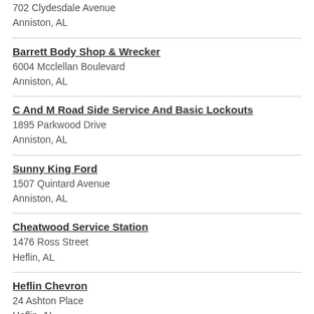702 Clydesdale Avenue
Anniston, AL
Barrett Body Shop & Wrecker
6004 Mcclellan Boulevard
Anniston, AL
C And M Road Side Service And Basic Lockouts
1895 Parkwood Drive
Anniston, AL
Sunny King Ford
1507 Quintard Avenue
Anniston, AL
Cheatwood Service Station
1476 Ross Street
Heflin, AL
Heflin Chevron
24 Ashton Place
Heflin, AL